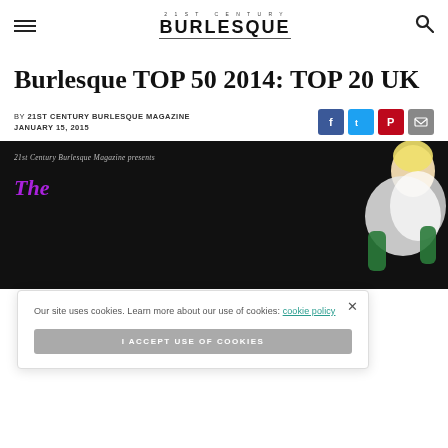21ST CENTURY BURLESQUE
Burlesque TOP 50 2014: TOP 20 UK
BY 21ST CENTURY BURLESQUE MAGAZINE
JANUARY 15, 2015
[Figure (screenshot): Social share buttons: Facebook (blue), Twitter (light blue), Pinterest (red), Email (grey)]
[Figure (photo): Dark image with text '21st Century Burlesque Magazine presents' and 'The' in purple italic font, with a performer in white feathers and green gloves on the right side]
Our site uses cookies. Learn more about our use of cookies: cookie policy
I ACCEPT USE OF COOKIES